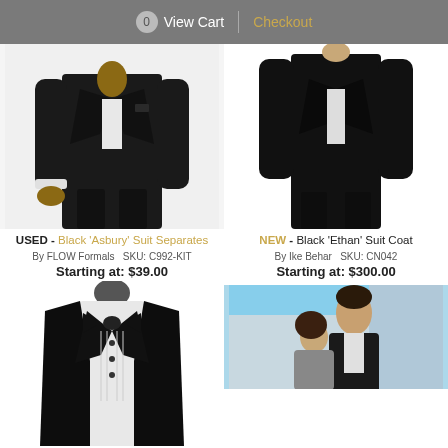0 View Cart | Checkout
[Figure (photo): Black suit jacket and pants (Asbury Suit Separates) worn by male model, upper body shot on white background]
USED - Black 'Asbury' Suit Separates
By FLOW Formals   SKU: C992-KIT
Starting at: $39.00
[Figure (photo): Black suit jacket (Ethan Suit Coat) worn by male model, full body shot]
NEW - Black 'Ethan' Suit Coat
By Ike Behar   SKU: CN042
Starting at: $300.00
[Figure (photo): Black tuxedo jacket with white shirt and black bow tie on a mannequin, bottom portion visible]
[Figure (photo): Man in suit hugging a woman outdoors, partial view]